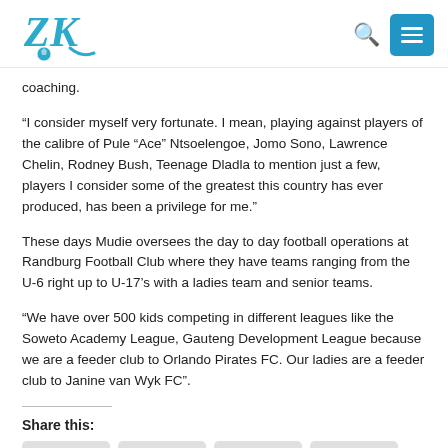ZK Football logo, search icon, menu button
coaching.
“I consider myself very fortunate. I mean, playing against players of the calibre of Pule “Ace” Ntsoelengoe, Jomo Sono, Lawrence Chelin, Rodney Bush, Teenage Dladla to mention just a few, players I consider some of the greatest this country has ever produced, has been a privilege for me.”
These days Mudie oversees the day to day football operations at Randburg Football Club where they have teams ranging from the U-6 right up to U-17’s with a ladies team and senior teams.
“We have over 500 kids competing in different leagues like the Soweto Academy League, Gauteng Development League because we are a feeder club to Orlando Pirates FC. Our ladies are a feeder club to Janine van Wyk FC”.
Share this: